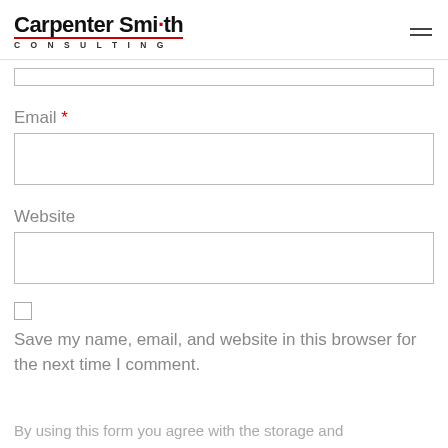Carpenter Smith CONSULTING
Email *
Website
Save my name, email, and website in this browser for the next time I comment.
By using this form you agree with the storage and